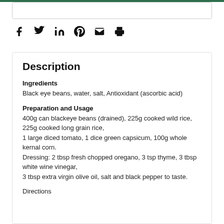[Figure (other): Social media share icons: Facebook, Twitter, LinkedIn, Pinterest, Email, Print]
Description
Ingredients
Black eye beans, water, salt, Antioxidant (ascorbic acid)
Preparation and Usage
400g can blackeye beans (drained), 225g cooked wild rice, 225g cooked long grain rice,
1 large diced tomato, 1 dice green capsicum, 100g whole kernal corn.
Dressing: 2 tbsp fresh chopped oregano, 3 tsp thyme, 3 tbsp white wine vinegar,
3 tbsp extra virgin olive oil, salt and black pepper to taste.
Directions